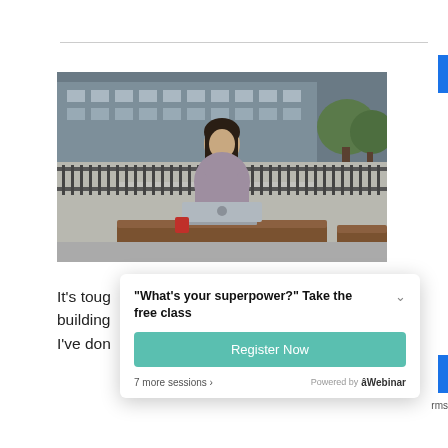[Figure (photo): Woman with dark hair sitting outdoors at a wooden table with an Apple MacBook laptop. Urban background with a building and trees. Metal railing fence behind her. Red small item on the table.]
It's toug building I've don
"What's your superpower?" Take the free class
Register Now
7 more sessions ›
Powered by eWebinar